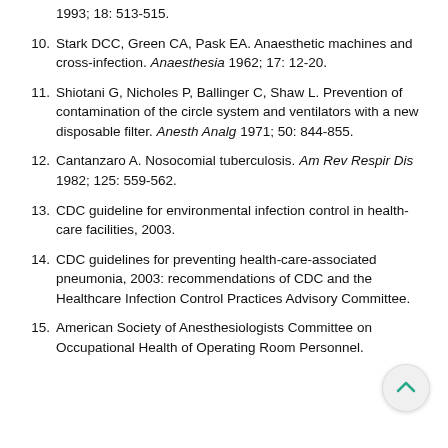1993; 18: 513-515.
10. Stark DCC, Green CA, Pask EA. Anaesthetic machines and cross-infection. Anaesthesia 1962; 17: 12-20.
11. Shiotani G, Nicholes P, Ballinger C, Shaw L. Prevention of contamination of the circle system and ventilators with a new disposable filter. Anesth Analg 1971; 50: 844-855.
12. Cantanzaro A. Nosocomial tuberculosis. Am Rev Respir Dis 1982; 125: 559-562.
13. CDC guideline for environmental infection control in health-care facilities, 2003.
14. CDC guidelines for preventing health-care-associated pneumonia, 2003: recommendations of CDC and the Healthcare Infection Control Practices Advisory Committee.
15. American Society of Anesthesiologists Committee on Occupational Health of Operating Room Personnel.